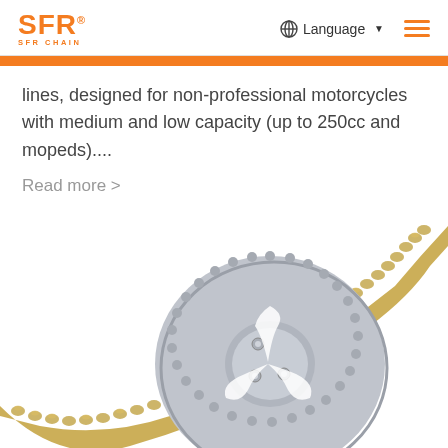SFR CHAIN — Language — (hamburger menu)
lines, designed for non-professional motorcycles with medium and low capacity (up to 250cc and mopeds)....
Read more >
[Figure (photo): A gold motorcycle chain wrapped around a silver rear sprocket/gear, photographed on a white background.]